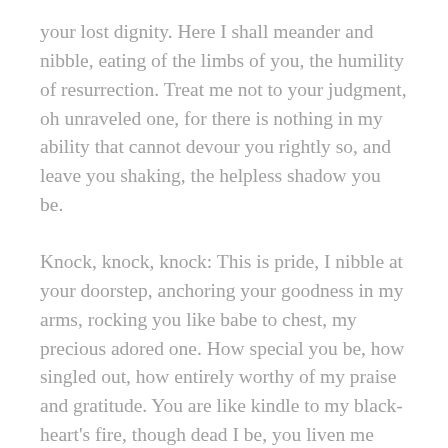your lost dignity. Here I shall meander and nibble, eating of the limbs of you, the humility of resurrection. Treat me not to your judgment, oh unraveled one, for there is nothing in my ability that cannot devour you rightly so, and leave you shaking, the helpless shadow you be.
Knock, knock, knock: This is pride, I nibble at your doorstep, anchoring your goodness in my arms, rocking you like babe to chest, my precious adored one. How special you be, how singled out, how entirely worthy of my praise and gratitude. You are like kindle to my black-heart's fire, though dead I be, you liven me with your coming.
Oh, dear pride, tisk, tisk, tisk, my precious one. How merrily you wait upon my stepping stones, waiting for the appearance of my smile. Do you not know that upon